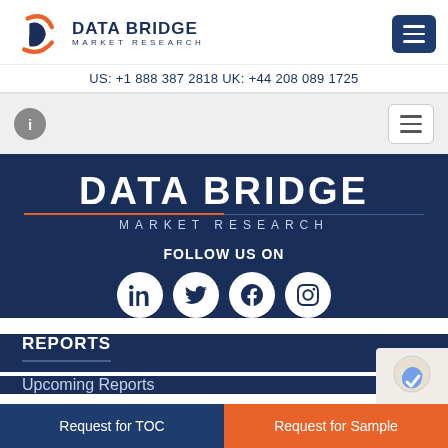[Figure (logo): Data Bridge Market Research logo with orange and navy blue 'b' icon and company name]
US: +1 888 387 2818 UK: +44 208 089 1725
[Figure (infographic): Navigation bar with info icon and hamburger menu on grey background]
DATA BRIDGE MARKET RESEARCH
FOLLOW US ON
[Figure (infographic): Social media icons: LinkedIn, Twitter, Facebook, Instagram in white circles on dark blue background]
REPORTS
Upcoming Reports
Request for TOC
Request for Sample